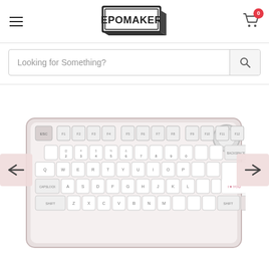EPOMAKER - navigation header with hamburger menu and cart
Looking for Something?
[Figure (photo): White mechanical keyboard with pink accents, function row, knob on top right, 'I ♥ YOU' enter key, showing QWERTY layout with navigation arrows on either side]